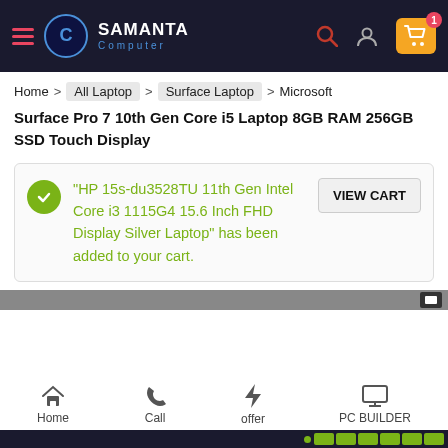Samanta Computer — navigation header with logo, search, user, cart (1 item)
Home > All Laptop > Surface Laptop > Microsoft
Surface Pro 7 10th Gen Core i5 Laptop 8GB RAM 256GB SSD Touch Display
“HP 15s-du3528TU 11th Gen Intel Core i3 1115G4 15.6 Inch FHD Display Silver Laptop” has been added to your cart.
VIEW CART
Home | Call | offer | PC BUILDER